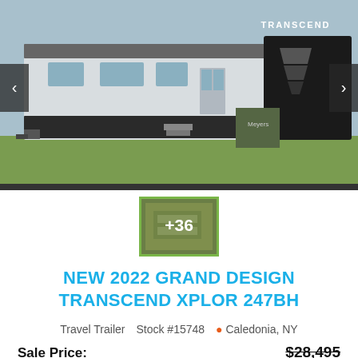[Figure (photo): Exterior photo of a 2022 Grand Design Transcend Xplor 247BH travel trailer parked on grass, showing the side profile with black and white body panels and the Transcend logo on the front cap. A Meyers brand item is visible near the hitch area. Navigation arrows on left and right sides.]
[Figure (photo): Small thumbnail showing interior of the RV with a +36 overlay indicating 36 more photos available, bordered in green.]
NEW 2022 GRAND DESIGN TRANSCEND XPLOR 247BH
Travel Trailer   Stock #15748   Caledonia, NY
Sale Price:   $28,495